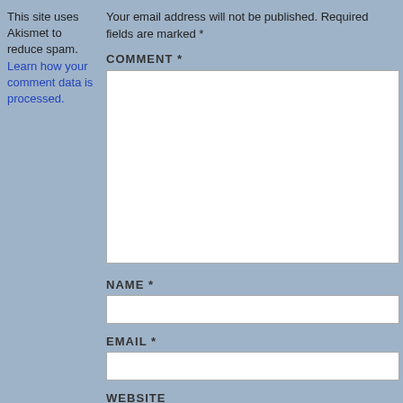This site uses Akismet to reduce spam. Learn how your comment data is processed.
Your email address will not be published. Required fields are marked *
COMMENT *
NAME *
EMAIL *
WEBSITE